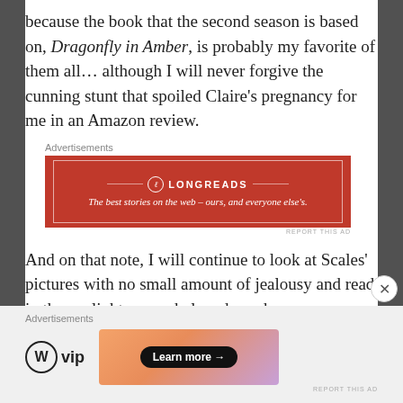because the book that the second season is based on, Dragonfly in Amber, is probably my favorite of them all… although I will never forgive the cunning stunt that spoiled Claire's pregnancy for me in an Amazon review.
[Figure (screenshot): Longreads advertisement banner with red background, logo and tagline 'The best stories on the web – ours, and everyone else's.']
And on that note, I will continue to look at Scales' pictures with no small amount of jealousy and read in the sunlight on my beloved porch…. a staycation without tourists.
[Figure (screenshot): WordPress VIP advertisement with 'Learn more' button on gradient background.]